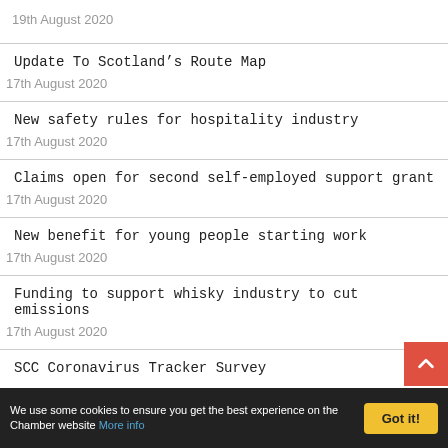19th August 2020
Update To Scotland’s Route Map
17th August 2020
New safety rules for hospitality industry
17th August 2020
Claims open for second self-employed support grant
17th August 2020
New benefit for young people starting work
17th August 2020
Funding to support whisky industry to cut emissions
17th August 2020
SCC Coronavirus Tracker Survey
We use some cookies to ensure you get the best experience on the Chamber website More info